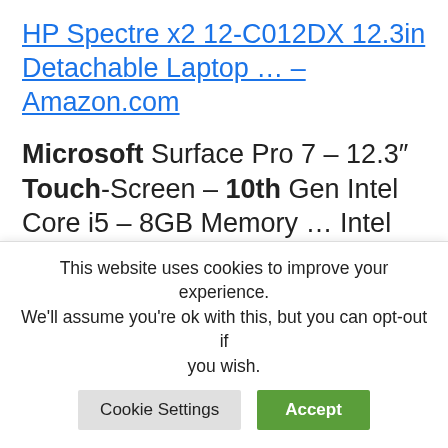HP Spectre x2 12-C012DX 12.3in Detachable Laptop … – Amazon.com
Microsoft Surface Pro 7 – 12.3″ Touch-Screen – 10th Gen Intel Core i5 – 8GB Memory … Intel UHD Graphics 600, Windows 11 in S Mode, 81VU00D1US, Ice Blue.
Get Alexa – Microsoft Store
8 Nov 2018 … Download this app from Microsoft Store for Windows 10
This website uses cookies to improve your experience. We'll assume you're ok with this, but you can opt-out if you wish. Cookie Settings Accept